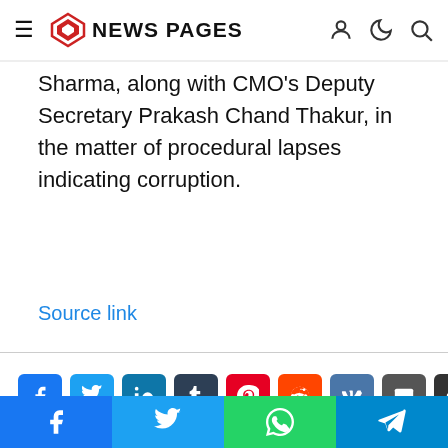NEWS PAGES
Sharma, along with CMO's Deputy Secretary Prakash Chand Thakur, in the matter of procedural lapses indicating corruption.
Source link
[Figure (infographic): Row of social share buttons: Facebook, Twitter, LinkedIn, Tumblr, Pinterest, Reddit, VK, Email, Print]
[Figure (logo): News Pages logo (diamond/house shape in red) at bottom of page]
[Figure (infographic): Bottom social bar with Facebook, Twitter, WhatsApp, Telegram buttons]